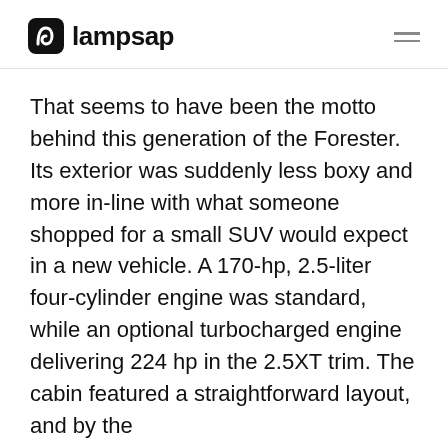lampsap
That seems to have been the motto behind this generation of the Forester. Its exterior was suddenly less boxy and more in-line with what someone shopped for a small SUV would expect in a new vehicle. A 170-hp, 2.5-liter four-cylinder engine was standard, while an optional turbocharged engine delivering 224 hp in the 2.5XT trim. The cabin featured a straightforward layout, and by the